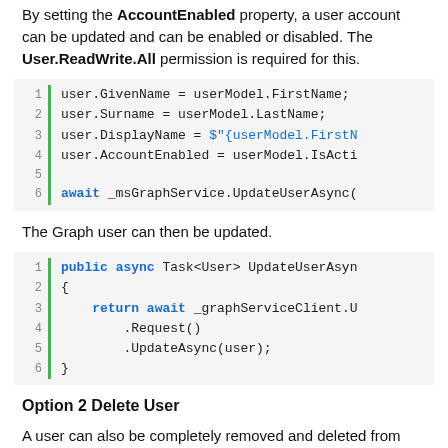By setting the AccountEnabled property, a user account can be updated and can be enabled or disabled. The User.ReadWrite.All permission is required for this.
[Figure (screenshot): Code block with 6 lines: user.GivenName = userModel.FirstName; user.Surname = userModel.LastName; user.DisplayName = ${userModel.FirstN... user.AccountEnabled = userModel.IsActi... (blank line) await _msGraphService.UpdateUserAsync(]
The Graph user can then be updated.
[Figure (screenshot): Code block with 6 lines: public async Task<User> UpdateUserAsyn... { return await _graphServiceClient.U... .Request() .UpdateAsync(user); }]
Option 2 Delete User
A user can also be completely removed and deleted from